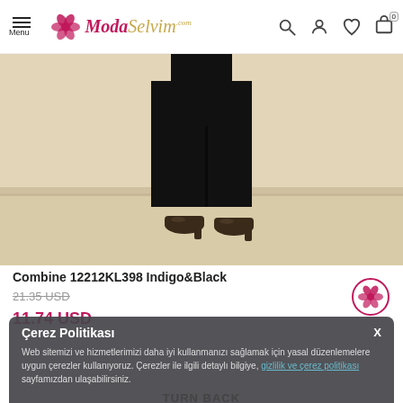[Figure (screenshot): Moda Selvim e-commerce website header with hamburger menu, logo, search, account, wishlist and cart icons]
[Figure (photo): Product photo showing lower half of a black outfit (wide-leg trousers) on model with dark heeled shoes, beige background]
Combine 12212KL398 Indigo&Black
21.35 USD (strikethrough old price)
11.74 USD
Çerez Politikası
Web sitemizi ve hizmetlerimizi daha iyi kullanmanızı sağlamak için yasal düzenlemelere uygun çerezler kullanıyoruz. Çerezler ile ilgili detaylı bilgiye, gizlilik ve çerez politikası sayfamızdan ulaşabilirsiniz.
TURN BACK